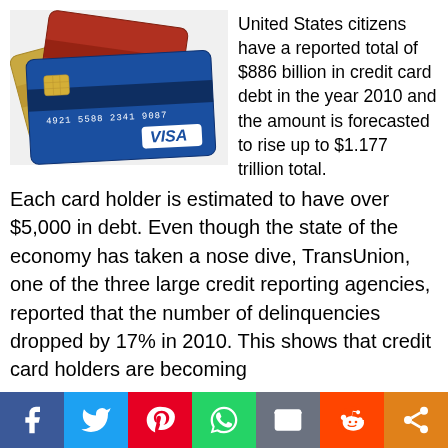[Figure (photo): Photo of multiple credit cards fanned out, including Visa and Mastercard cards in blue, gold, and red colors on a white background.]
United States citizens have a reported total of $886 billion in credit card debt in the year 2010 and the amount is forecasted to rise up to $1.177 trillion total. Each card holder is estimated to have over $5,000 in debt. Even though the state of the economy has taken a nose dive, TransUnion, one of the three large credit reporting agencies, reported that the number of delinquencies dropped by 17% in 2010. This shows that credit card holders are becoming
[Figure (infographic): Social sharing bar with icons for Facebook, Twitter, Pinterest, WhatsApp, Email, Reddit, and Share.]